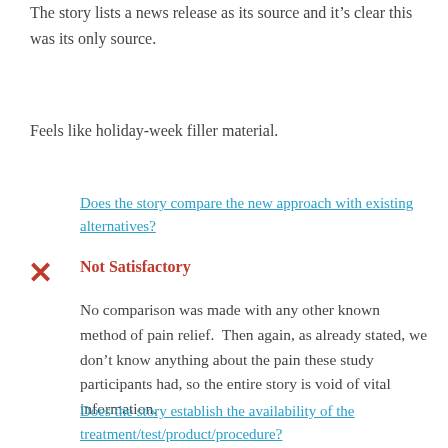The story lists a news release as its source and it’s clear this was its only source.
Feels like holiday-week filler material.
Does the story compare the new approach with existing alternatives?
Not Satisfactory
No comparison was made with any other known method of pain relief.  Then again, as already stated, we don’t know anything about the pain these study participants had, so the entire story is void of vital information.
Does the story establish the availability of the treatment/test/product/procedure?